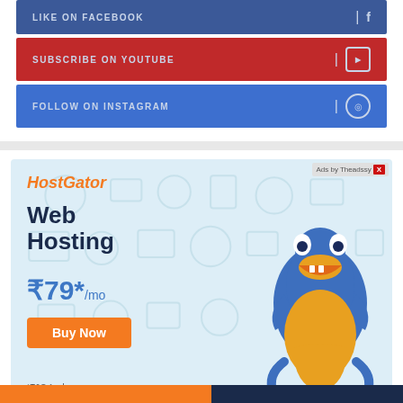LIKE ON FACEBOOK
SUBSCRIBE ON YOUTUBE
FOLLOW ON INSTAGRAM
[Figure (infographic): HostGator web hosting advertisement banner. Shows HostGator brand in orange italic, 'Web Hosting' in dark bold text, price '₹79*/mo' in blue, orange 'Buy Now' button, '*T&C Apply' footnote, and cartoon blue crocodile mascot on right. Background has light blue tech icons. 'Ads by Theadssy' label with red X in top right corner.]